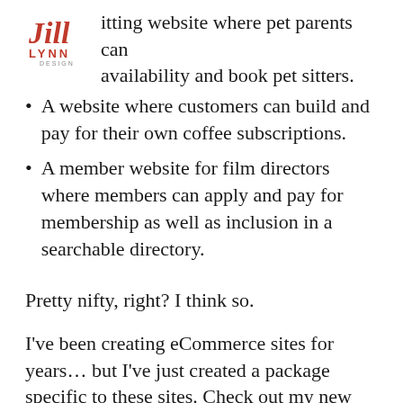itting website where pet parents can availability and book pet sitters.
A website where customers can build and pay for their own coffee subscriptions.
A member website for film directors where members can apply and pay for membership as well as inclusion in a searchable directory.
Pretty nifty, right? I think so.
I've been creating eCommerce sites for years… but I've just created a package specific to these sites. Check out my new 'You sell it' add-on package for WordPress eCommerce website